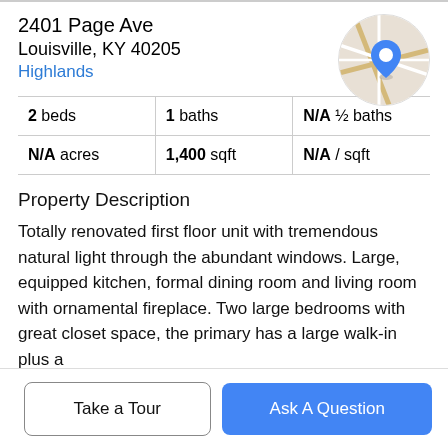2401 Page Ave
Louisville, KY 40205
Highlands
[Figure (map): Circular map thumbnail with street lines and a blue location pin marker]
| 2 beds | 1 baths | N/A ½ baths |
| N/A acres | 1,400 sqft | N/A / sqft |
Property Description
Totally renovated first floor unit with tremendous natural light through the abundant windows. Large, equipped kitchen, formal dining room and living room with ornamental fireplace. Two large bedrooms with great closet space, the primary has a large walk-in plus a